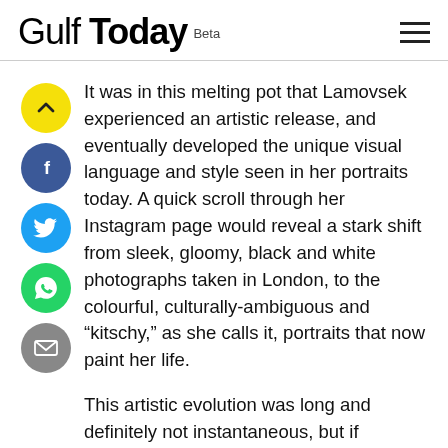Gulf Today Beta
It was in this melting pot that Lamovsek experienced an artistic release, and eventually developed the unique visual language and style seen in her portraits today. A quick scroll through her Instagram page would reveal a stark shift from sleek, gloomy, black and white photographs taken in London, to the colourful, culturally-ambiguous and “kitschy,” as she calls it, portraits that now paint her life.
This artistic evolution was long and definitely not instantaneous, but if Lamovsek were to pinpoint ground zero, it would be her move to the neighbourhood of Satwa in old Dubai. “It’s something about the vibe here that gives me